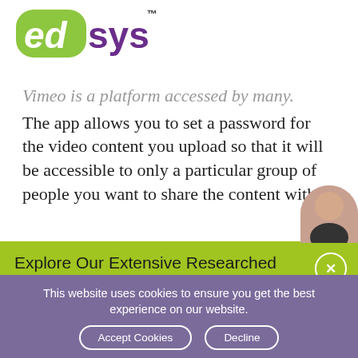[Figure (logo): Edsys logo — green circle with 'ed' in white italic, purple 'sys' text, TM superscript]
Vimeo is a platform accessed by many. The app allows you to set a password for the video content you upload so that it will be accessible to only a particular group of people you want to share the content with
Explore Our Extensive Researched Educational App Directory
This website uses cookies to ensure you get the best experience on our website.
Accept Cookies    Decline